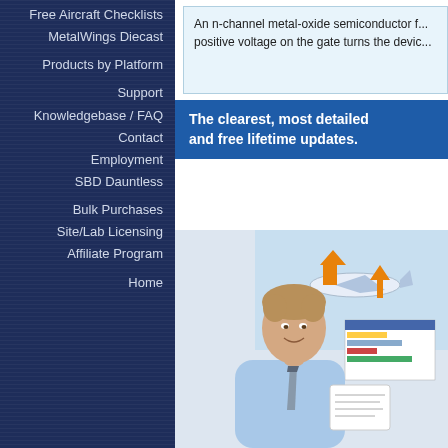Free Aircraft Checklists
MetalWings Diecast
Products by Platform
Support
Knowledgebase / FAQ
Contact
Employment
SBD Dauntless
Bulk Purchases
Site/Lab Licensing
Affiliate Program
Home
An n-channel metal-oxide semiconductor f... positive voltage on the gate turns the devic...
The clearest, most detailed and free lifetime updates.
[Figure (photo): Young man in business attire smiling and holding documents, with aviation training imagery in background including airplane and charts]